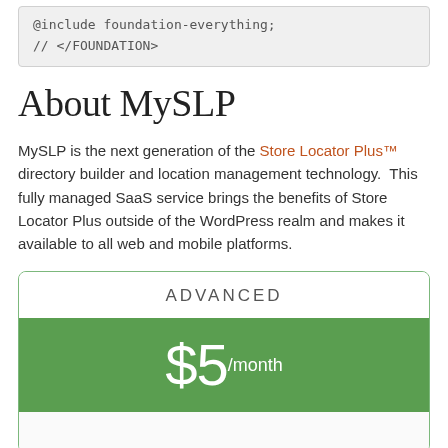@include foundation-everything;
// </FOUNDATION>
About MySLP
MySLP is the next generation of the Store Locator Plus™ directory builder and location management technology.  This fully managed SaaS service brings the benefits of Store Locator Plus outside of the WordPress realm and makes it available to all web and mobile platforms.
| ADVANCED |
| --- |
| $5/month |
|  |